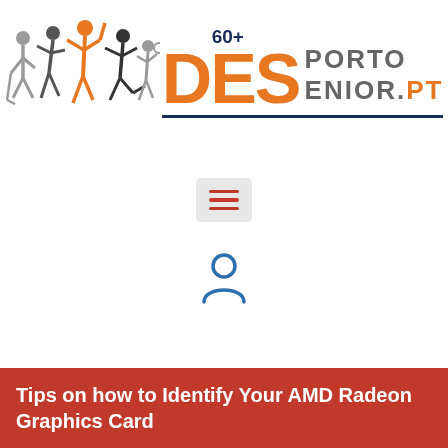[Figure (logo): Desporto Senior PT logo with illustrated athletic figures and text '60+ DES PORTO SENIOR .PT' in orange, dark grey, and dark blue colors]
[Figure (other): Hamburger menu icon (three horizontal orange-red lines) on a light grey rounded rectangle background]
[Figure (other): User/person icon in blue outline style]
Tips on how to Identify Your AMD Radeon Graphics Card